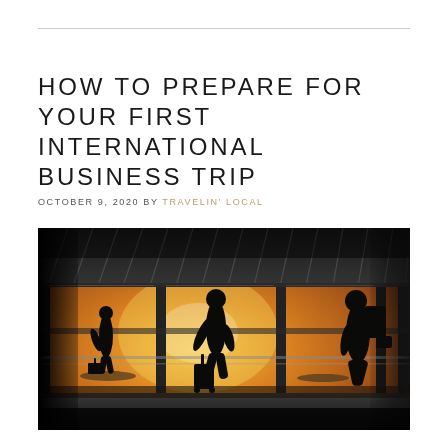HOW TO PREPARE FOR YOUR FIRST INTERNATIONAL BUSINESS TRIP
OCTOBER 9, 2020 BY TRAVELIN' LOCAL
[Figure (photo): Silhouettes of business travelers with luggage walking through an airport terminal with large windows showing a golden sunset and parked airplanes outside]